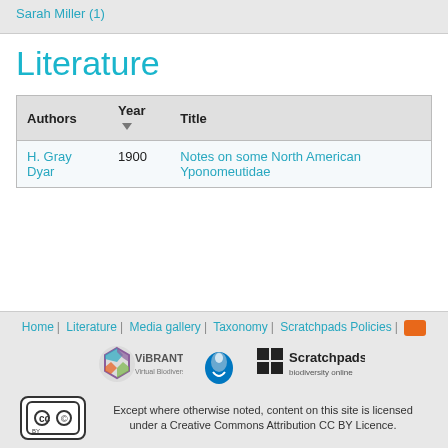Sarah Miller (1)
Literature
| Authors | Year | Title |
| --- | --- | --- |
| H. Gray Dyar | 1900 | Notes on some North American Yponomeutidae |
Home | Literature | Media gallery | Taxonomy | Scratchpads Policies |
Except where otherwise noted, content on this site is licensed under a Creative Commons Attribution CC BY Licence.